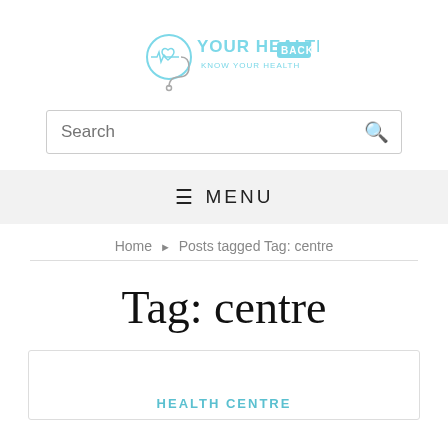[Figure (logo): Your Health Back logo with stethoscope and text 'KNOW YOUR HEALTH']
Search
≡ MENU
Home ▶ Posts tagged Tag: centre
Tag: centre
HEALTH CENTRE